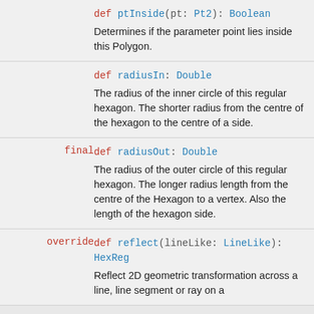def ptInside(pt: Pt2): Boolean
Determines if the parameter point lies inside this Polygon.
def radiusIn: Double
The radius of the inner circle of this regular hexagon. The shorter radius from the centre of the hexagon to the centre of a side.
final def radiusOut: Double
The radius of the outer circle of this regular hexagon. The longer radius length from the centre of the Hexagon to a vertex. Also the length of the hexagon side.
override def reflect(lineLike: LineLike): HexReg
Reflect 2D geometric transformation across a line, line segment or ray on a